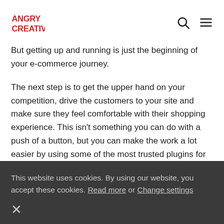ANGRY CREATIVE [logo] [search icon] [menu icon]
But getting up and running is just the beginning of your e-commerce journey.
The next step is to get the upper hand on your competition, drive the customers to your site and make sure they feel comfortable with their shopping experience. This isn't something you can do with a push of a button, but you can make the work a lot easier by using some of the most trusted plugins for
This website uses cookies. By using our website, you accept these cookies. Read more or Change settings
×